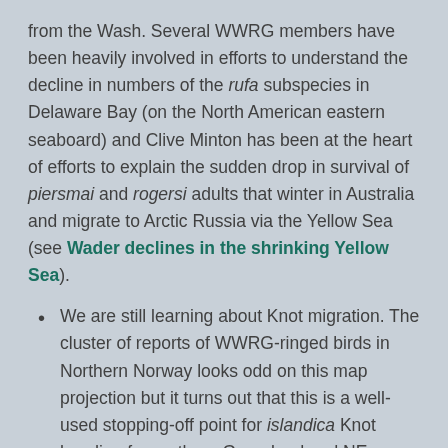from the Wash. Several WWRG members have been heavily involved in efforts to understand the decline in numbers of the rufa subspecies in Delaware Bay (on the North American eastern seaboard) and Clive Minton has been at the heart of efforts to explain the sudden drop in survival of piersmai and rogersi adults that winter in Australia and migrate to Arctic Russia via the Yellow Sea (see Wader declines in the shrinking Yellow Sea).
We are still learning about Knot migration. The cluster of reports of WWRG-ringed birds in Northern Norway looks odd on this map projection but it turns out that this is a well-used stopping-off point for islandica Knot heading for northern Greenland and NE Canada. This route was first confirmed in 1985, when a joint Durham University and Tromsø University expedition